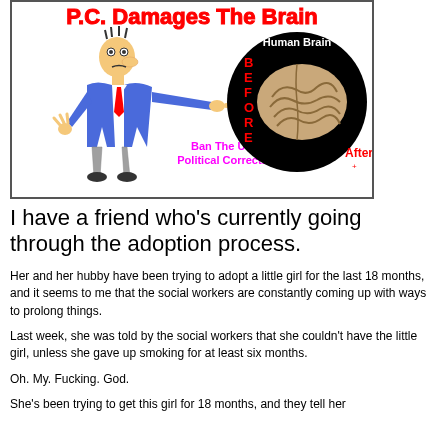[Figure (illustration): Cartoon illustration with text 'P.C. Damages The Brain' in red at top. A cartoon man in blue shirt and red tie pointing right. A black circle showing a human brain labeled 'Human Brain' with 'BEFORE' in red text on left side. Text in magenta: 'Ban The Use Of Political Correctness'. Red text 'After' in bottom right of circle.]
I have a friend who’s currently going through the adoption process.
Her and her hubby have been trying to adopt a little girl for the last 18 months, and it seems to me that the social workers are constantly coming up with ways to prolong things.
Last week, she was told by the social workers that she couldn’t have the little girl, unless she gave up smoking for at least six months.
Oh. My. Fucking. God.
She’s been trying to get this girl for 18 months, and they tell her